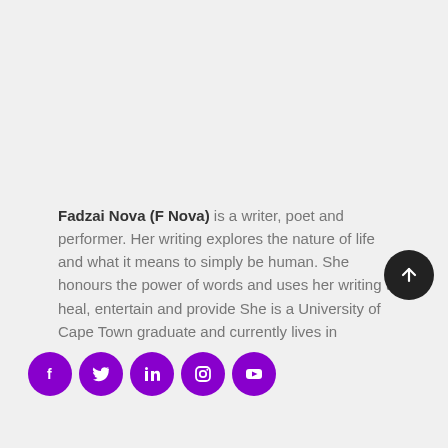Fadzai Nova (F Nova) is a writer, poet and performer. Her writing explores the nature of life and what it means to simply be human. She honours the power of words and uses her writing to heal, entertain and provide She is a University of Cape Town graduate and currently lives in
[Figure (other): Row of five circular purple social media icons (Facebook, Twitter, LinkedIn, Instagram, YouTube) and a black circular back-to-top arrow button]